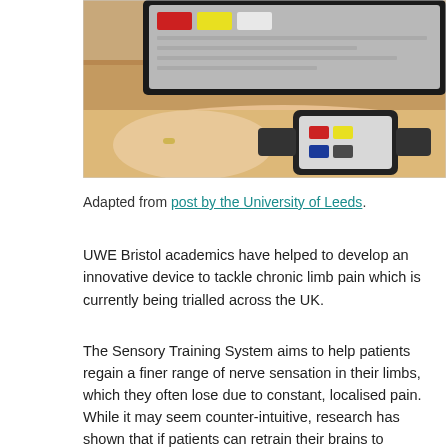[Figure (photo): A photograph showing a person's arm resting on a wooden surface with a wrist-worn medical device displaying colored dots/patches. A tablet computer with colored blocks on screen is held in the background.]
Adapted from post by the University of Leeds.
UWE Bristol academics have helped to develop an innovative device to tackle chronic limb pain which is currently being trialled across the UK.
The Sensory Training System aims to help patients regain a finer range of nerve sensation in their limbs, which they often lose due to constant, localised pain. While it may seem counter-intuitive, research has shown that if patients can retrain their brains to distinguish sensations in their limbs more clearly, their levels of pain will reduce.